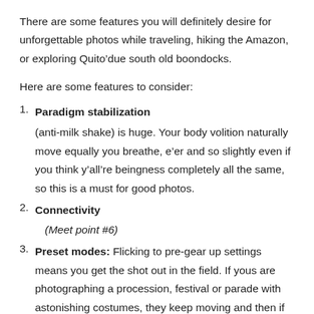There are some features you will definitely desire for unforgettable photos while traveling, hiking the Amazon, or exploring Quito’due south old boondocks.
Here are some features to consider:
Paradigm stabilization (anti-milk shake) is huge. Your body volition naturally move equally you breathe, e’er and so slightly even if you think y’all’re beingness completely all the same, so this is a must for good photos.
Connectivity (Meet point #6)
Preset modes: Flicking to pre-gear up settings means you get the shot out in the field. If yous are photographing a procession, festival or parade with astonishing costumes, they keep moving and then if you are fumbling effectually trying to fix up your photographic camera, you’ll miss the shot. Ready information technology up before you lot go.